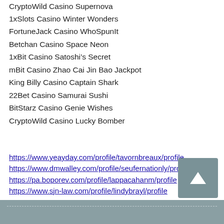CryptoWild Casino Supernova
1xSlots Casino Winter Wonders
FortuneJack Casino WhoSpunIt
Betchan Casino Space Neon
1xBit Casino Satoshi’s Secret
mBit Casino Zhao Cai Jin Bao Jackpot
King Billy Casino Captain Shark
22Bet Casino Samurai Sushi
BitStarz Casino Genie Wishes
CryptoWild Casino Lucky Bomber
https://www.yeayday.com/profile/tavornbreaux/profile
https://www.dmwalley.com/profile/seufernationly/profile
https://pa.boporev.com/profile/lappacahanm/profile
https://www.sjn-law.com/profile/lindybrayl/profile